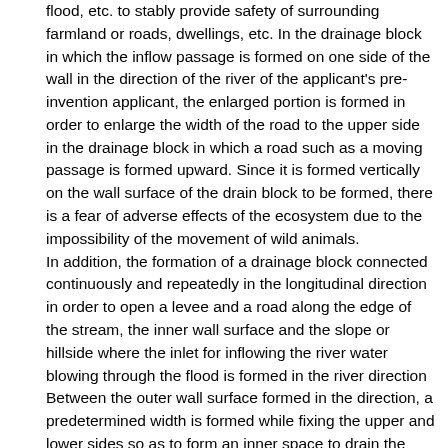flood, etc. to stably provide safety of surrounding farmland or roads, dwellings, etc. In the drainage block in which the inflow passage is formed on one side of the wall in the direction of the river of the applicant's pre-invention applicant, the enlarged portion is formed in order to enlarge the width of the road to the upper side in the drainage block in which a road such as a moving passage is formed upward. Since it is formed vertically on the wall surface of the drain block to be formed, there is a fear of adverse effects of the ecosystem due to the impossibility of the movement of wild animals.
In addition, the formation of a drainage block connected continuously and repeatedly in the longitudinal direction in order to open a levee and a road along the edge of the stream, the inner wall surface and the slope or hillside where the inlet for inflowing the river water blowing through the flood is formed in the river direction Between the outer wall surface formed in the direction, a predetermined width is formed while fixing the upper and lower sides so as to form an inner space to drain the flood water flowing into the inlet.
However, it is to provide a drainage block for forming a moving path such as a road by forming an enlarged portion